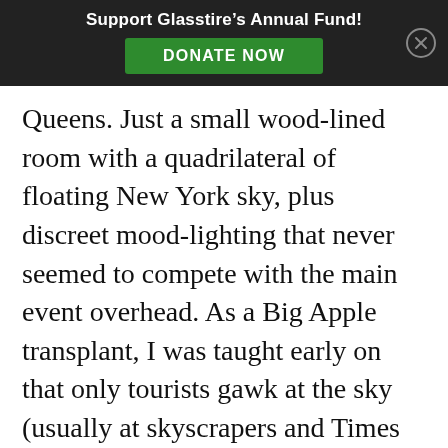Support Glasstire's Annual Fund! DONATE NOW
Queens. Just a small wood-lined room with a quadrilateral of floating New York sky, plus discreet mood-lighting that never seemed to compete with the main event overhead. As a Big Apple transplant, I was taught early on that only tourists gawk at the sky (usually at skyscrapers and Times Square’s glowing billboards). In Meeting, I reveled in gawking and at how pure and infinite the sky appeared. After experiencing several Skyspaces, including Turrell’s newish pyramidal Twilight Epiphany at Rice